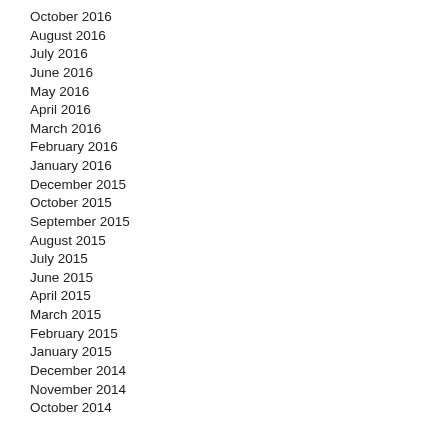October 2016
August 2016
July 2016
June 2016
May 2016
April 2016
March 2016
February 2016
January 2016
December 2015
October 2015
September 2015
August 2015
July 2015
June 2015
April 2015
March 2015
February 2015
January 2015
December 2014
November 2014
October 2014